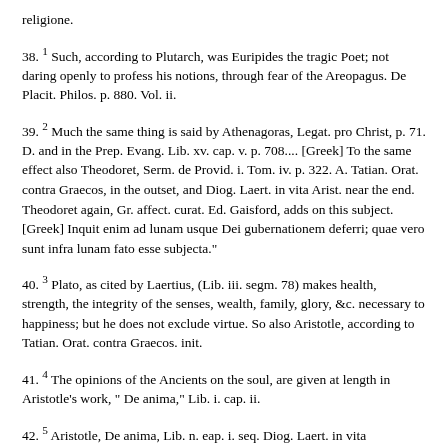religione.
38. 1 Such, according to Plutarch, was Euripides the tragic Poet; not daring openly to profess his notions, through fear of the Areopagus. De Placit. Philos. p. 880. Vol. ii.
39. 2 Much the same thing is said by Athenagoras, Legat. pro Christ, p. 71. D. and in the Prep. Evang. Lib. xv. cap. v. p. 708.... [Greek] To the same effect also Theodoret, Serm. de Provid. i. Tom. iv. p. 322. A. Tatian. Orat. contra Graecos, in the outset, and Diog. Laert. in vita Arist. near the end. Theodoret again, Gr. affect. curat. Ed. Gaisford, adds on this subject. [Greek] Inquit enim ad lunam usque Dei gubernationem deferri; quae vero sunt infra lunam fato esse subjecta."
40. 3 Plato, as cited by Laertius, (Lib. iii. segm. 78) makes health, strength, the integrity of the senses, wealth, family, glory, &c. necessary to happiness; but he does not exclude virtue. So also Aristotle, according to Tatian. Orat. contra Graecos. init.
41. 4 The opinions of the Ancients on the soul, are given at length in Aristotle's work, " De anima," Lib. i. cap. ii.
42. 5 Aristotle, De anima, Lib. n. eap. i. seq. Diog. Laert. in vita